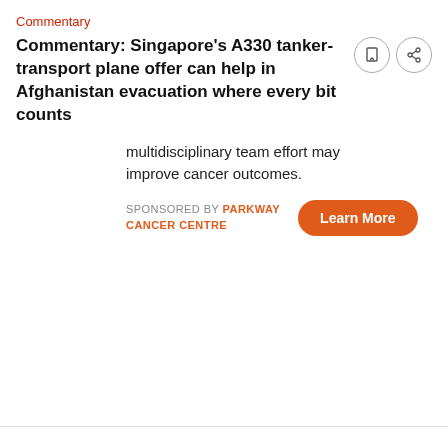Commentary
Commentary: Singapore's A330 tanker-transport plane offer can help in Afghanistan evacuation where every bit counts
multidisciplinary team effort may improve cancer outcomes.
SPONSORED BY PARKWAY CANCER CENTRE
In addition to being able to refuel the RSAF's F-15 and F-16 fighter jets along with other RSAF MRTTs in mid-air, the RSAF has also conducted refuelling training with aircraft from friendly nations, including MRTTs from the Royal Australian Air Force and Royal